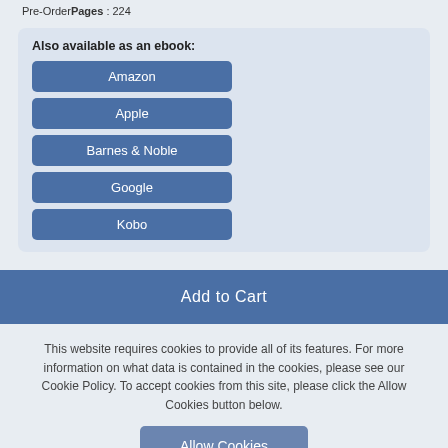Pre-OrderPages : 224
Also available as an ebook:
Amazon
Apple
Barnes & Noble
Google
Kobo
Add to Cart
This website requires cookies to provide all of its features. For more information on what data is contained in the cookies, please see our Cookie Policy. To accept cookies from this site, please click the Allow Cookies button below.
Allow Cookies